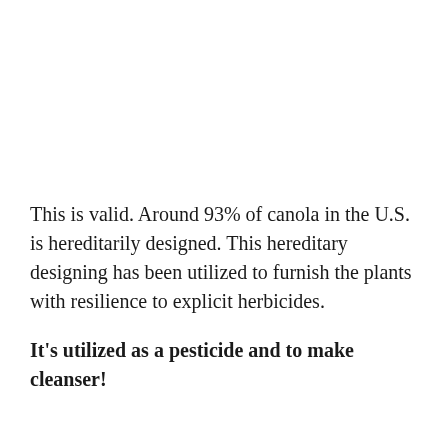This is valid. Around 93% of canola in the U.S. is hereditarily designed. This hereditary designing has been utilized to furnish the plants with resilience to explicit herbicides.
It's utilized as a pesticide and to make cleanser!